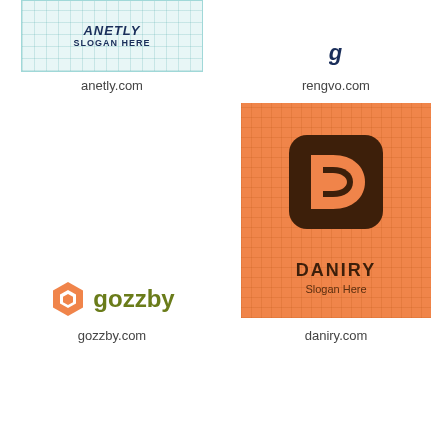[Figure (logo): Anetly logo on light blue grid background with 'ANETLY' italic bold name and 'SLOGAN HERE' text in dark navy]
[Figure (logo): Rengvo logo — dark navy italic bold text reading partial logo visible]
anetly.com
rengvo.com
[Figure (logo): Gozzby logo — orange hexagon icon with 'gozzby' in olive/dark yellow text]
[Figure (logo): Daniry logo on orange grid background — brown rounded-square D letter mark with 'DANIRY' bold and 'Slogan Here' below]
gozzby.com
daniry.com